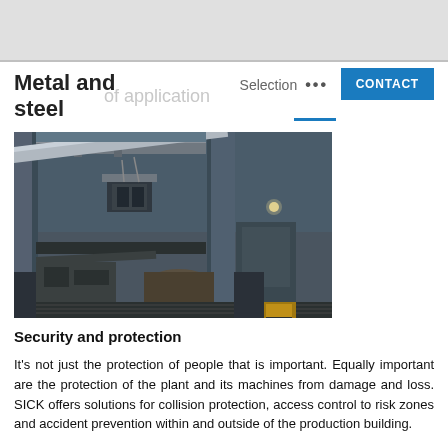Metal and steel
Selection
[Figure (photo): Industrial metal and steel facility interior showing a crane arm with heavy equipment suspended, large steel columns, floor-level machinery and yellow safety fencing in a production building]
Security and protection
It's not just the protection of people that is important. Equally important are the protection of the plant and its machines from damage and loss. SICK offers solutions for collision protection, access control to risk zones and accident prevention within and outside of the production building.